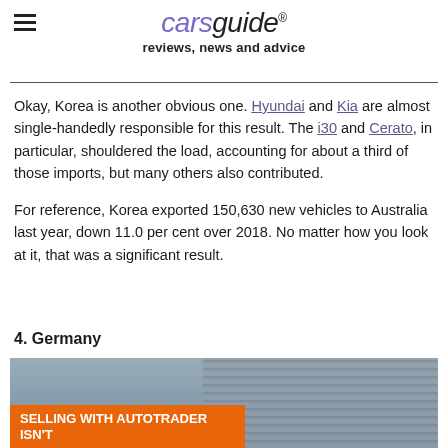carsguide reviews, news and advice
Okay, Korea is another obvious one. Hyundai and Kia are almost single-handedly responsible for this result. The i30 and Cerato, in particular, shouldered the load, accounting for about a third of those imports, but many others also contributed.

For reference, Korea exported 150,630 new vehicles to Australia last year, down 11.0 per cent over 2018. No matter how you look at it, that was a significant result.
4. Germany
[Figure (photo): Car dealership exterior with shuttered garage doors; orange advertisement banner overlay reading 'SELLING WITH AUTOTRADER ISN'T']